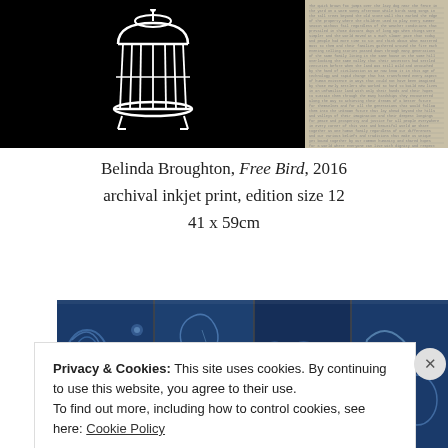[Figure (photo): Top-left: black background with white birdcage illustration (cage with bars). Top-right: textured fabric/paper pattern in beige/grey.]
Belinda Broughton, Free Bird, 2016
archival inkjet print, edition size 12
41 x 59cm
[Figure (photo): Bottom photo strip: blue fabric patterns with floral and paisley motifs, multiple panels side by side.]
Privacy & Cookies: This site uses cookies. By continuing to use this website, you agree to their use.
To find out more, including how to control cookies, see here: Cookie Policy
Close and accept